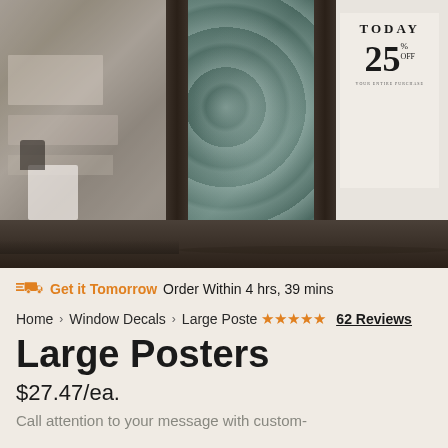[Figure (photo): Store window display showing a large poster with '25% OFF TODAY YOUR ENTIRE PURCHASE' sale sign, decorative floral window decal in center, and retail shelving visible on the left side.]
Get it Tomorrow  Order Within 4 hrs, 39 mins
Home › Window Decals › Large Poste ★★★★★ 62 Reviews
Large Posters
$27.47/ea.
Call attention to your message with custom-